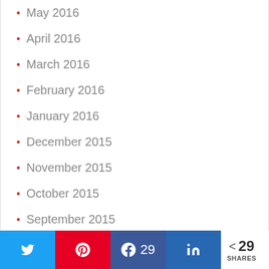May 2016
April 2016
March 2016
February 2016
January 2016
December 2015
November 2015
October 2015
September 2015
August 2015
July 2015
Twitter Pinterest Facebook 29 LinkedIn < 29 SHARES